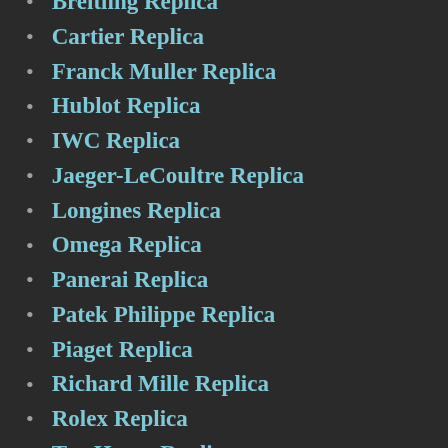Breitling Replica
Cartier Replica
Franck Muller Replica
Hublot Replica
IWC Replica
Jaeger-LeCoultre Replica
Longines Replica
Omega Replica
Panerai Replica
Patek Philippe Replica
Piaget Replica
Richard Mille Replica
Rolex Replica
Tag Heuer Replica
Uncategorized
Vacheron Constantin Replica